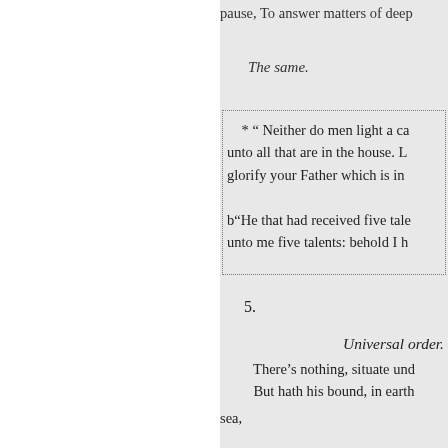pause, To answer matters of deep...
The same.
* " Neither do men light a ca... unto all that are in the house. L... glorify your Father which is in...
b"He that had received five tale... unto me five talents: behold I h...
5.
Universal order.
There's nothing, situate und... But hath his bound, in earth
sea,
14-ii. 1. 6.
Earth, Nature's mother. The ea... her womb: And from her womb,... many virtues excellent, None bu...